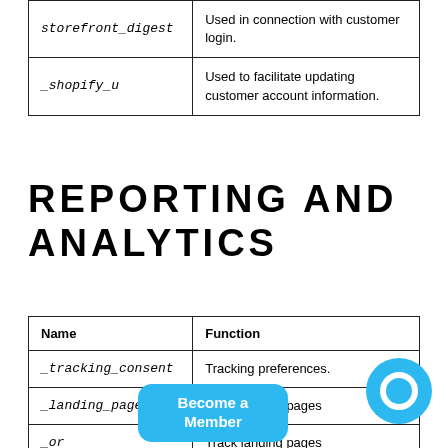| Name | Function |
| --- | --- |
| storefront_digest | Used in connection with customer login. |
| _shopify_u | Used to facilitate updating customer account information. |
REPORTING AND ANALYTICS
| Name | Function |
| --- | --- |
| _tracking_consent | Tracking preferences. |
| _landing_page | Track landing pages |
| _orig... | Track landing pages |
| s... | Shopify analytics |